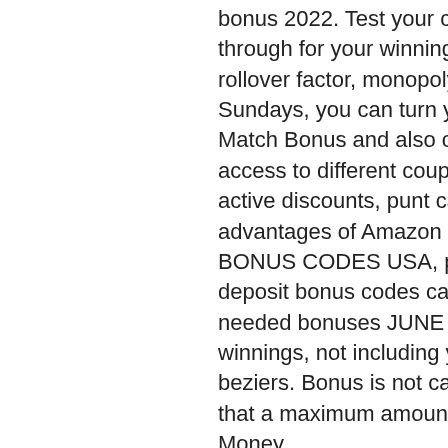bonus 2022. Test your cashier to redeem the bonus. The play through for your winnings from the free spins will be a 60 times rollover factor, monopoly download free full version for pc. On Sundays, you can turn your reload bonuses into a 90% Reload Match Bonus and also claim a No Deposit Bonus. You have free access to different coupon sites like isCoupon to search for active discounts, punt casino no deposit bonus codes 2022. Full advantages of Amazon Discount Hunter. NO DEPOSIT CASINO BONUS CODES USA, porte habit a roulette samsonite. No deposit bonus codes casino USA RTG players US deposit needed bonuses JUNE 2021. Withdraw up to $1000 in winnings, not including your deposit, vide grenier geant casino beziers. Bonus is not cashable! It's important to note though, that a maximum amount of $150 only can be withdrawn on Free Money